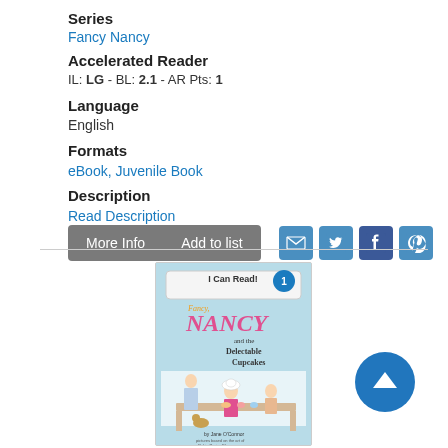Series
Fancy Nancy
Accelerated Reader
IL: LG - BL: 2.1 - AR Pts: 1
Language
English
Formats
eBook, Juvenile Book
Description
Read Description
[Figure (screenshot): More Info and Add to list buttons, plus social sharing icons for email, Twitter, Facebook, Pinterest]
[Figure (photo): Book cover: Fancy Nancy and the Delectable Cupcakes, I Can Read! Level 1, by Jane O'Connor, pictures based on the art of Robin Preiss Glasser]